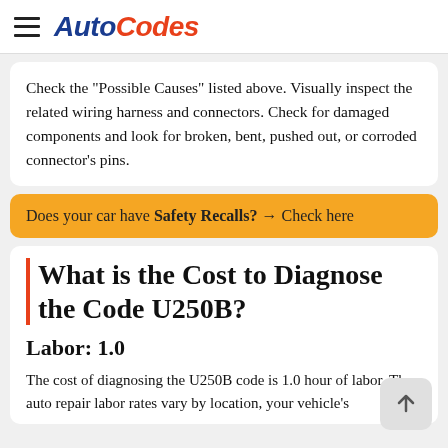AutoCodes
Check the "Possible Causes" listed above. Visually inspect the related wiring harness and connectors. Check for damaged components and look for broken, bent, pushed out, or corroded connector's pins.
Does your car have Safety Recalls? → Check here
What is the Cost to Diagnose the Code U250B?
Labor: 1.0
The cost of diagnosing the U250B code is 1.0 hour of labor. The auto repair labor rates vary by location, your vehicle's